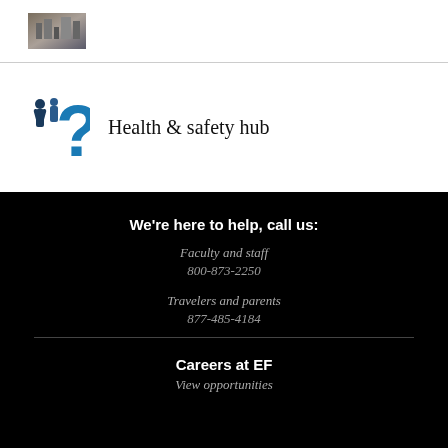[Figure (photo): Small thumbnail photo of a city scene]
[Figure (illustration): Blue illustration of people with a large question mark representing Health & safety hub]
Health & safety hub
We're here to help, call us:
Faculty and staff
800-873-2250
Travelers and parents
877-485-4184
Careers at EF
View opportunities